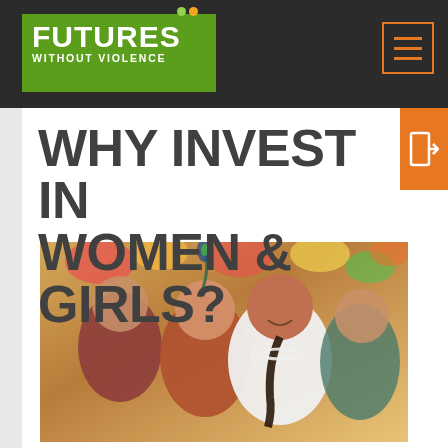FUTURES WITHOUT VIOLENCE
WHY INVEST IN WOMEN & GIRLS?
[Figure (photo): Group of smiling young women and girls at what appears to be a cultural celebration, with colorful flowers and decorations in the background. The central figure is a girl with braided hair wearing a white outfit and pearl necklace.]